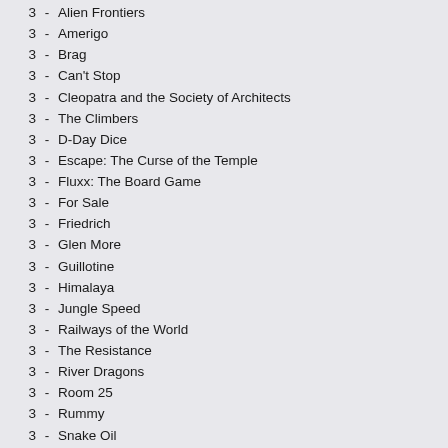3 - Alien Frontiers
3 - Amerigo
3 - Brag
3 - Can't Stop
3 - Cleopatra and the Society of Architects
3 - The Climbers
3 - D-Day Dice
3 - Escape: The Curse of the Temple
3 - Fluxx: The Board Game
3 - For Sale
3 - Friedrich
3 - Glen More
3 - Guillotine
3 - Himalaya
3 - Jungle Speed
3 - Railways of the World
3 - The Resistance
3 - River Dragons
3 - Room 25
3 - Rummy
3 - Snake Oil
3 - Telestrations
3 - Terra Mystica
3 - Trajan
3 - Twilight Struggle
3 - Tzolk'in: The Mayan Calendar
3 - Win, Lose, or Banana
2 - 1st & Goal